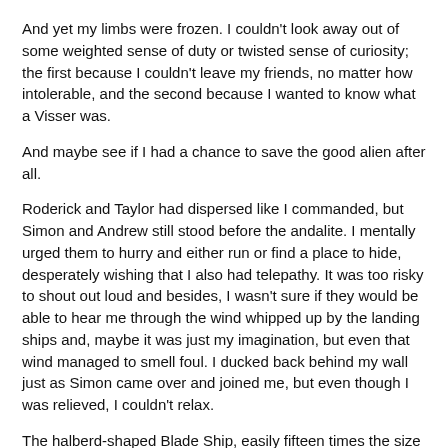And yet my limbs were frozen. I couldn't look away out of some weighted sense of duty or twisted sense of curiosity; the first because I couldn't leave my friends, no matter how intolerable, and the second because I wanted to know what a Visser was.
And maybe see if I had a chance to save the good alien after all.
Roderick and Taylor had dispersed like I commanded, but Simon and Andrew still stood before the andalite. I mentally urged them to hurry and either run or find a place to hide, desperately wishing that I also had telepathy. It was too risky to shout out loud and besides, I wasn't sure if they would be able to hear me through the wind whipped up by the landing ships and, maybe it was just my imagination, but even that wind managed to smell foul. I ducked back behind my wall just as Simon came over and joined me, but even though I was relieved, I couldn't relax.
The halberd-shaped Blade Ship, easily fifteen times the size of the Andalite Fighter with enough room for a tank or five, landed with much more finesse than I expected it to. Red lights dotting its side gave the illusion of a thousand pairs of eyes staring out from the darkness: a sharp contrast from the andalite's bright blue comet. The door at its head made an earth-